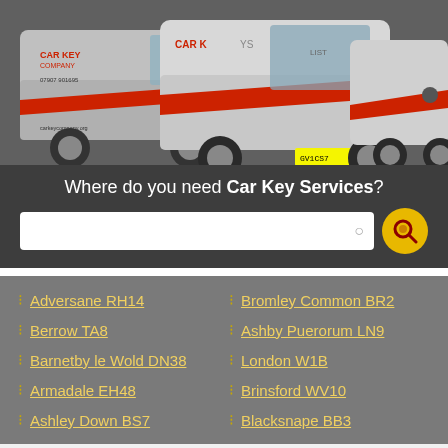[Figure (photo): Three white vans with red Car Key Company branding/livery parked together on a grey background]
Where do you need Car Key Services?
Adversane RH14
Berrow TA8
Barnetby le Wold DN38
Armadale EH48
Ashley Down BS7
Bromley Common BR2
Ashby Puerorum LN9
London W1B
Brinsford WV10
Blacksnape BB3
Vehicles